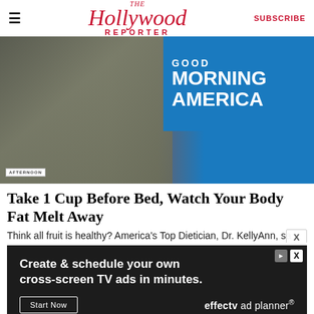The Hollywood Reporter | SUBSCRIBE
[Figure (photo): TV studio screenshot showing two women on Good Morning America set with food/blender on table. A woman in grey sweater with gold belt and another in black top are visible. GMA logo visible in background.]
Take 1 Cup Before Bed, Watch Your Body Fat Melt Away
Think all fruit is healthy? America's Top Dietician, Dr. KellyAnn, sa
[Figure (screenshot): Advertisement: Create & schedule your own cross-screen TV ads in minutes. Start Now button. effectv ad planner logo.]